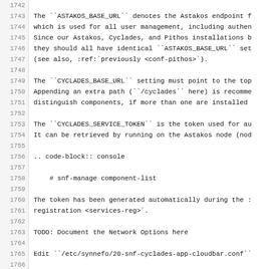1742
1743  The ``ASTAKOS_BASE_URL`` denotes the Astakos endpoint f
1744  which is used for all user management, including authen
1745  Since our Astakos, Cyclades, and Pithos installations b
1746  they should all have identical ``ASTAKOS_BASE_URL`` set
1747  (see also, :ref:`previously <conf-pithos>`).
1748
1749  The ``CYCLADES_BASE_URL`` setting must point to the top
1750  Appending an extra path (``/cyclades`` here) is recomme
1751  distinguish components, if more than one are installed
1752
1753  The ``CYCLADES_SERVICE_TOKEN`` is the token used for au
1754  It can be retrieved by running on the Astakos node (nod
1755
1756  .. code-block:: console
1757
1758      # snf-manage component-list
1759
1760  The token has been generated automatically during the :
1761  registration <services-reg>`.
1762
1763  TODO: Document the Network Options here
1764
1765  Edit ``/etc/synnefo/20-snf-cyclades-app-cloudbar.conf``
1766
1767  .. code-block:: console
1768
1769      CLOUDBAR_LOCATION = 'https://node1.example.com/stat